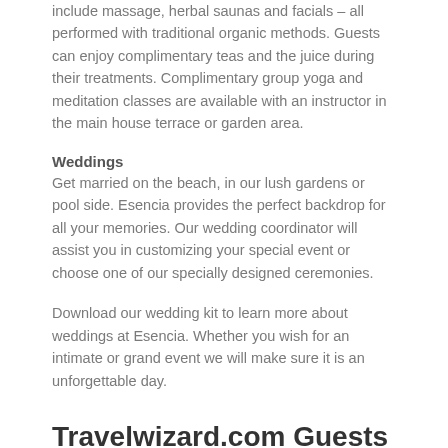include massage, herbal saunas and facials – all performed with traditional organic methods. Guests can enjoy complimentary teas and the juice during their treatments. Complimentary group yoga and meditation classes are available with an instructor in the main house terrace or garden area.
Weddings
Get married on the beach, in our lush gardens or pool side. Esencia provides the perfect backdrop for all your memories. Our wedding coordinator will assist you in customizing your special event or choose one of our specially designed ceremonies.
Download our wedding kit to learn more about weddings at Esencia. Whether you wish for an intimate or grand event we will make sure it is an unforgettable day.
Travelwizard.com Guests Receive: